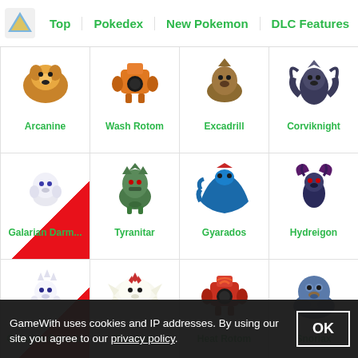Top | Pokedex | New Pokemon | DLC Features | Best R
[Figure (screenshot): Grid of Pokemon images and names: Arcanine, Wash Rotom, Excadrill, Corviknight, Galarian Darm..., Tyranitar, Gyarados, Hydreigon, Galarian Corsola, Togekiss, Heat Rotom, Snorlax, Toxapex, Grimmsnarl, Dracovish, Aegislash, and two partial rows below]
GameWith uses cookies and IP addresses. By using our site you agree to our privacy policy.